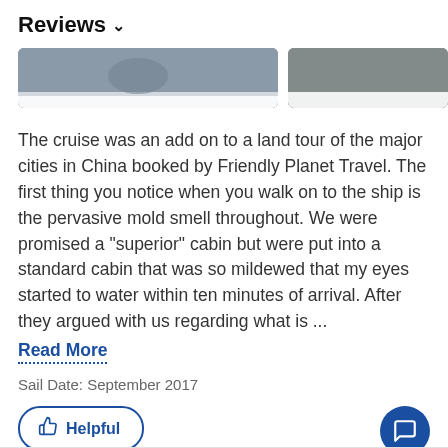Reviews ∨
[Figure (photo): Two partially visible travel photos side by side, cropped at the top]
The cruise was an add on to a land tour of the major cities in China booked by Friendly Planet Travel. The first thing you notice when you walk on to the ship is the pervasive mold smell throughout. We were promised a "superior" cabin but were put into a standard cabin that was so mildewed that my eyes started to water within ten minutes of arrival. After they argued with us regarding what is ...
Read More
Sail Date: September 2017
Helpful